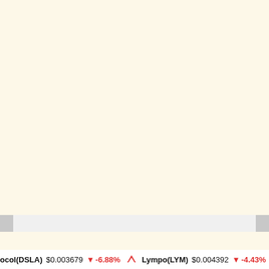[Figure (screenshot): Cryptocurrency price ticker bar at the bottom of a financial website page. Shows DSLA Protocol (DSLA) price $0.003679 with -6.88% change, and Lympo (LYM) price $0.004392 with -4.43% change. Both changes are shown in red with down arrows indicating price decreases.]